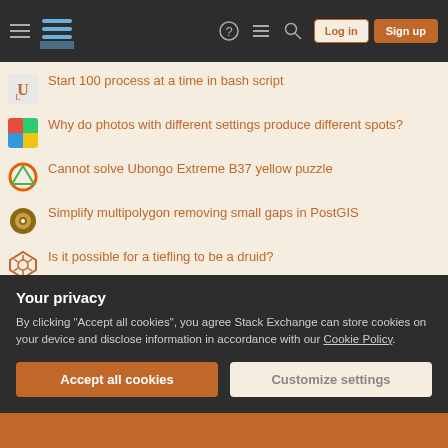Stack Exchange navigation bar with Log in and Sign up buttons
Start 100 process at a time in bash script
Why do photos with different settings produce different spots?
Cannot solve Ubongo Extreme B37 yellow puzzle
Simplify multipolygon removing small gaps in PostGIS
Is it possible for a tiefling to be a druid?
Why the "soap" here is singular?
Is a hidden network with "X" security less secure than a non-hidden network with that same "X" security?
How many spacers were there?
Mechanic told me to replace the entire brake system because of "clo...
Your privacy
By clicking "Accept all cookies", you agree Stack Exchange can store cookies on your device and disclose information in accordance with our Cookie Policy.